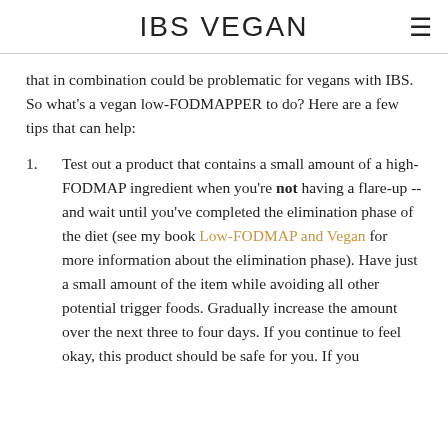IBS VEGAN
that in combination could be problematic for vegans with IBS. So what's a vegan low-FODMAPPER to do? Here are a few tips that can help:
Test out a product that contains a small amount of a high-FODMAP ingredient when you're not having a flare-up -- and wait until you've completed the elimination phase of the diet (see my book Low-FODMAP and Vegan for more information about the elimination phase). Have just a small amount of the item while avoiding all other potential trigger foods. Gradually increase the amount over the next three to four days. If you continue to feel okay, this product should be safe for you. If you